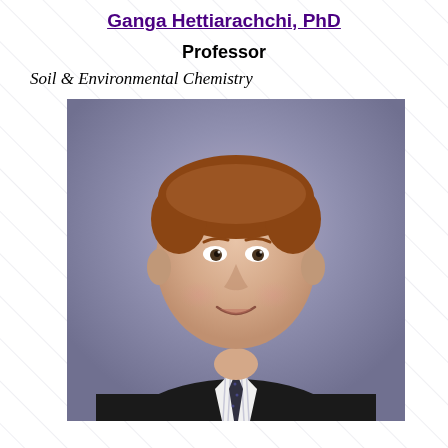Ganga Hettiarachchi, PhD
Professor
Soil & Environmental Chemistry
[Figure (photo): Professional headshot of a man in a dark suit and tie with a striped shirt, light reddish-brown hair, smiling, against a blurred blue-grey background.]